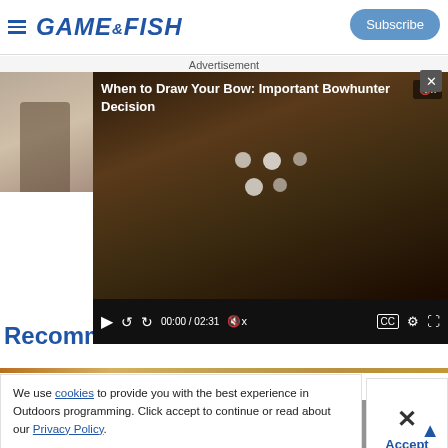GAME&FISH | Subscribe
Advertisement
[Figure (screenshot): Video player showing bowhunter in camouflage drawing bow, with title 'When to Draw Your Bow: Important Bowhunter Decision', time 00:00 / 02:31]
Recommen
We use cookies to provide you with the best experience in Outdoors programming. Click accept to continue or read about our Privacy Policy.
Advertisement
[Figure (photo): Federal ammunition 100th anniversary advertisement with badge and black-and-white historical photos]